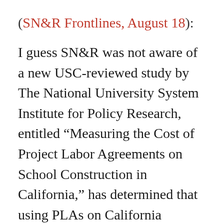(SN&R Frontlines, August 18):
I guess SN&R was not aware of a new USC-reviewed study by The National University System Institute for Policy Research, entitled “Measuring the Cost of Project Labor Agreements on School Construction in California,” has determined that using PLAs on California prevailing wage school construction adds between 13 percent and 15 percent to the cost. The study is available in electronic (.pdf) format at